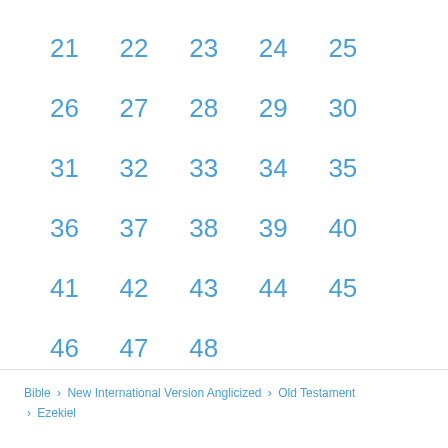21  22  23  24  25
26  27  28  29  30
31  32  33  34  35
36  37  38  39  40
41  42  43  44  45
46  47  48
Bible › New International Version Anglicized › Old Testament › Ezekiel